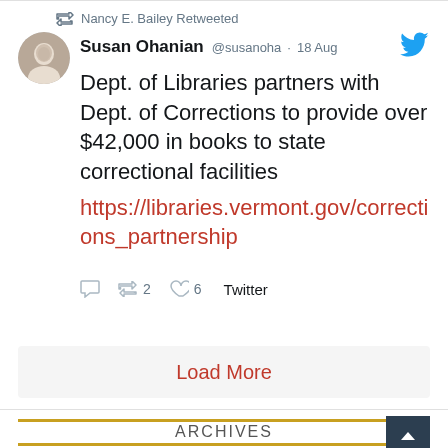Nancy E. Bailey Retweeted
Susan Ohanian @susanoha · 18 Aug
Dept. of Libraries partners with Dept. of Corrections to provide over $42,000 in books to state correctional facilities
https://libraries.vermont.gov/corrections_partnership
2  6  Twitter
Load More
ARCHIVES